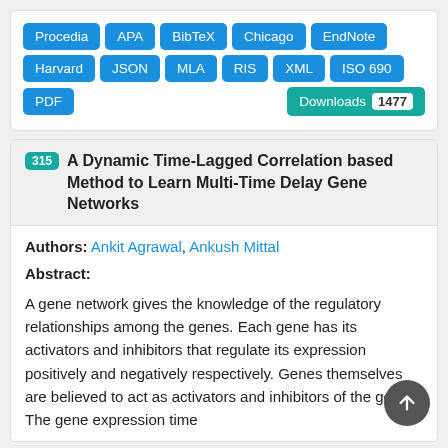Procedia APA BibTeX Chicago EndNote Harvard JSON MLA RIS XML ISO 690 PDF Downloads 1477
315 A Dynamic Time-Lagged Correlation based Method to Learn Multi-Time Delay Gene Networks
Authors: Ankit Agrawal, Ankush Mittal
Abstract:
A gene network gives the knowledge of the regulatory relationships among the genes. Each gene has its activators and inhibitors that regulate its expression positively and negatively respectively. Genes themselves are believed to act as activators and inhibitors of the genes. The gene expression time